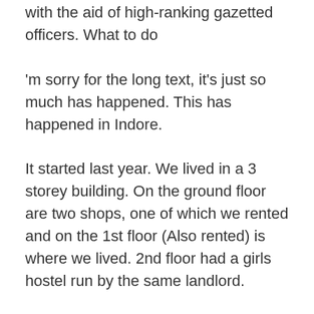with the aid of high-ranking gazetted officers. What to do
'm sorry for the long text, it's just so much has happened. This has happened in Indore.
It started last year. We lived in a 3 storey building. On the ground floor are two shops, one of which we rented and on the 1st floor (Also rented) is where we lived. 2nd floor had a girls hostel run by the same landlord.
Last year my dad had a heated argument with the landlord over the electricity bill because it was combined and so we were forced to pay for his girls hostel electricity usage too. Anyway it got heated and the landlord said I want you to evict both the house